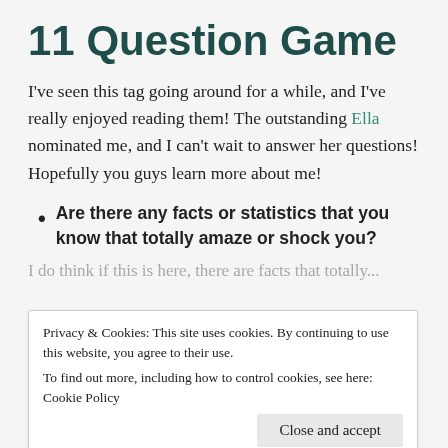11 Question Game
I've seen this tag going around for a while, and I've really enjoyed reading them! The outstanding Ella nominated me, and I can't wait to answer her questions! Hopefully you guys learn more about me!
Are there any facts or statistics that you know that totally amaze or shock you?
[clipped text partially visible]
Privacy & Cookies: This site uses cookies. By continuing to use this website, you agree to their use.
To find out more, including how to control cookies, see here: Cookie Policy
Close and accept
What is the most beautiful place you have